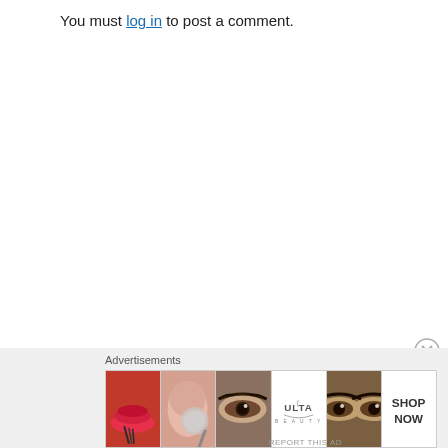You must log in to post a comment.
[Figure (illustration): Ulta Beauty advertisement banner showing makeup imagery: red lips with brush, face with powder brush, close-up eye with makeup, Ulta Beauty logo, eyes with dramatic eye makeup, and 'SHOP NOW' text button.]
Advertisements
REPORT THIS AD